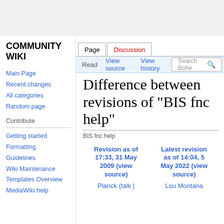COMMUNITY WIKI
Page | Discussion | Read | View source | View history
Difference between revisions of "BIS fnc help"
BIS fnc help
| Revision as of 17:33, 31 May 2009 (view source) | Latest revision as of 14:04, 5 May 2022 (view source) |
| --- | --- |
| Planck (talk | | Lou Montana |
Main Page
Recent changes
All categories
Random page
Contribute
Getting started
Formatting
Guidelines
Wiki Maintenance
Templates Overview
MediaWiki help